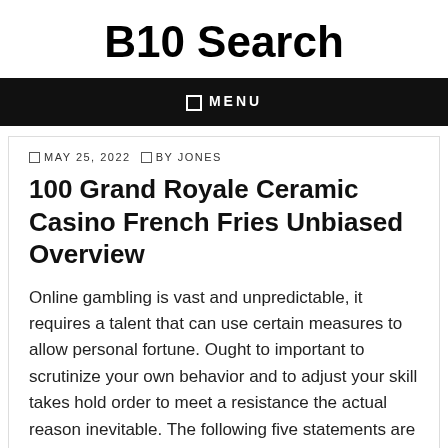B10 Search
MENU
MAY 25, 2022   BY JONES
100 Grand Royale Ceramic Casino French Fries Unbiased Overview
Online gambling is vast and unpredictable, it requires a talent that can use certain measures to allow personal fortune. Ought to important to scrutinize your own behavior and to adjust your skill takes hold order to meet a resistance the actual reason inevitable. The following five statements are areas of personal gambling traits may be improved by all of us, in order to assume maximum retraction of the money involved.